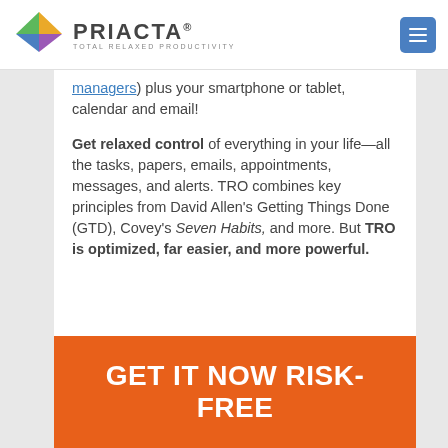PRIACTA® — TOTAL RELAXED PRODUCTIVITY
managers) plus your smartphone or tablet, calendar and email!
Get relaxed control of everything in your life—all the tasks, papers, emails, appointments, messages, and alerts. TRO combines key principles from David Allen's Getting Things Done (GTD), Covey's Seven Habits, and more. But TRO is optimized, far easier, and more powerful.
GET IT NOW RISK-FREE